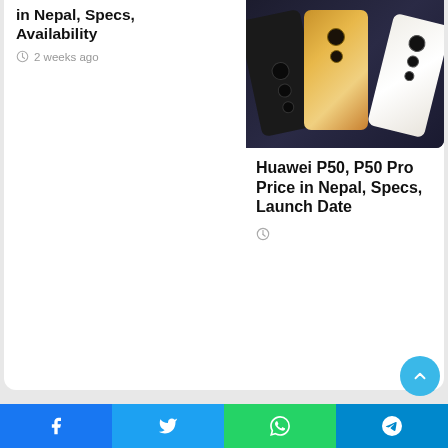in Nepal, Specs, Availability
2 weeks ago
[Figure (photo): Huawei P50 and P50 Pro smartphones displayed on dark background, showing back camera modules on multiple color variants (black, gold, white/floral)]
Huawei P50, P50 Pro Price in Nepal, Specs, Launch Date
Leave a Reply
Your email address will not be published. Required fields are marked *